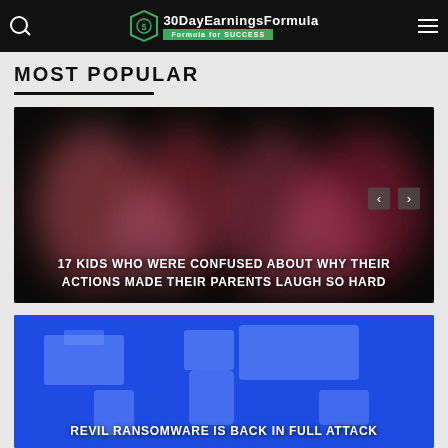30DayEarningsFormula — Formula for SUCCESS
MOST POPULAR
[Figure (photo): Dark background image with blurred pink/red stylized text. Navigation arrows visible. Article card for '17 Kids Who Were Confused About Why Their Actions Made Their Parents Laugh So Hard']
17 KIDS WHO WERE CONFUSED ABOUT WHY THEIR ACTIONS MADE THEIR PARENTS LAUGH SO HARD
[Figure (photo): Blue world map background image for REvil ransomware article]
REVIL RANSOMWARE IS BACK IN FULL ATTACK